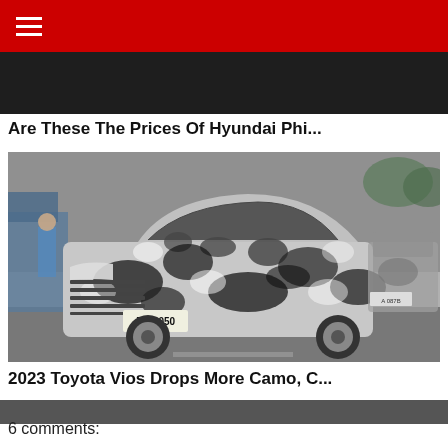Navigation menu
[Figure (photo): Dark top portion of a car article image, partially visible at top]
Are These The Prices Of Hyundai Phi...
[Figure (photo): 2023 Toyota Vios spy shot wrapped in black and white camouflage pattern, parked at what appears to be a gas station. License plate reads TC 2050.]
2023 Toyota Vios Drops More Camo, C...
6 comments: